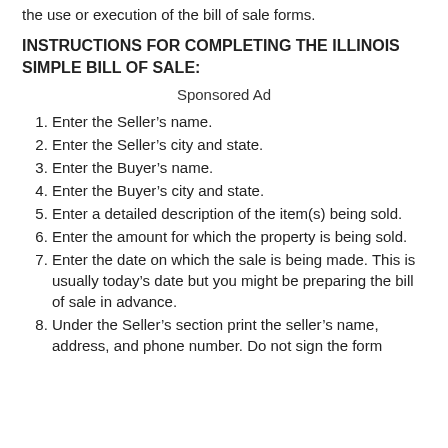the use or execution of the bill of sale forms.
INSTRUCTIONS FOR COMPLETING THE ILLINOIS SIMPLE BILL OF SALE:
Sponsored Ad
Enter the Seller's name.
Enter the Seller's city and state.
Enter the Buyer's name.
Enter the Buyer's city and state.
Enter a detailed description of the item(s) being sold.
Enter the amount for which the property is being sold.
Enter the date on which the sale is being made. This is usually today's date but you might be preparing the bill of sale in advance.
Under the Seller's section print the seller's name, address, and phone number. Do not sign the form